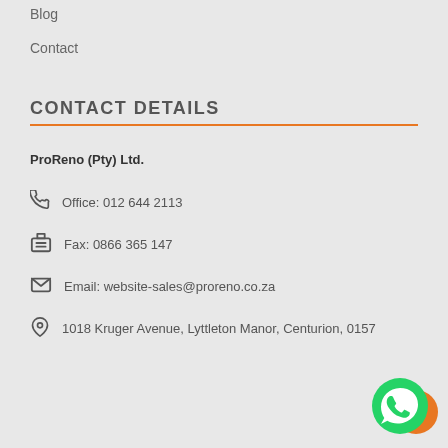Blog
Contact
CONTACT DETAILS
ProReno (Pty) Ltd.
Office: 012 644 2113
Fax: 0866 365 147
Email: website-sales@proreno.co.za
1018 Kruger Avenue, Lyttleton Manor, Centurion, 0157
[Figure (logo): WhatsApp chat button - green circle with white WhatsApp logo, overlapping orange circle]